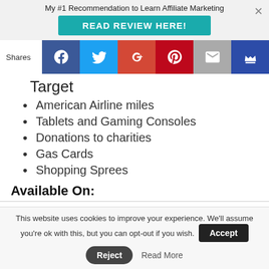My #1 Recommendation to Learn Affiliate Marketing
READ REVIEW HERE!
[Figure (infographic): Social sharing bar with icons for Facebook, Twitter, Google+, Pinterest, Email, and a crown/bookmark icon. Label 'Shares' on the left.]
Target
American Airline miles
Tablets and Gaming Consoles
Donations to charities
Gas Cards
Shopping Sprees
Available On:
This website uses cookies to improve your experience. We'll assume you're ok with this, but you can opt-out if you wish. Accept Reject Read More